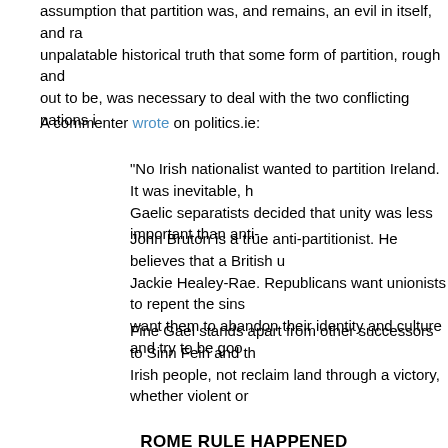assumption that partition was, and remains, an evil in itself, and ra... unpalatable historical truth that some form of partition, rough and... out to be, was necessary to deal with the two conflicting nations i...
A commenter wrote on politics.ie:
"No Irish nationalist wanted to partition Ireland. It was inevitable, h... Gaelic separatists decided that unity was less important than anti-...
John Bruton is a true anti-partitionist. He believes that a British u... Jackie Healey-Rae. Republicans want unionists to repent the sins... want them to abandon their identity and culture and try to be goo...
Fine Gael stands apart from other successors to Sinn Fein and th... Irish people, not reclaim land through a victory, whether violent or...
ROME RULE HAPPENED
Arthur Aughey, a unionist political scientist, said that the Irish republic wa... the "construction of homogenous, confessional political order." Fac... time President and Taoiseach of Ireland, Éamon de Valera said in April 1...
"I am an Irishman second: I am a Catholic first and I accept with... respects the teaching of the hierarchy and the church to which I b...